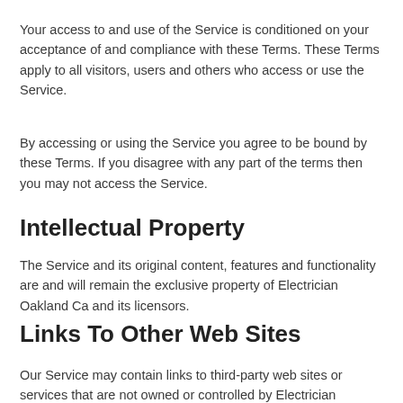Your access to and use of the Service is conditioned on your acceptance of and compliance with these Terms. These Terms apply to all visitors, users and others who access or use the Service.
By accessing or using the Service you agree to be bound by these Terms. If you disagree with any part of the terms then you may not access the Service.
Intellectual Property
The Service and its original content, features and functionality are and will remain the exclusive property of Electrician Oakland Ca and its licensors.
Links To Other Web Sites
Our Service may contain links to third-party web sites or services that are not owned or controlled by Electrician